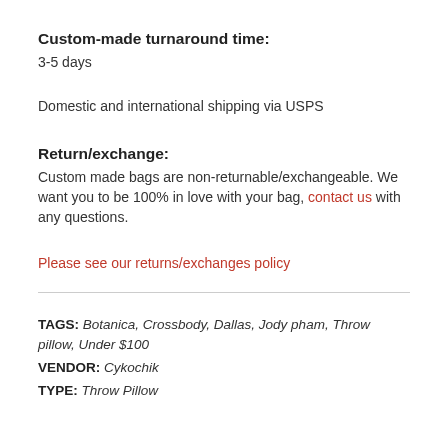Custom-made turnaround time:
3-5 days
Domestic and international shipping via USPS
Return/exchange:
Custom made bags are non-returnable/exchangeable. We want you to be 100% in love with your bag, contact us with any questions.
Please see our returns/exchanges policy
TAGS: Botanica, Crossbody, Dallas, Jody pham, Throw pillow, Under $100
VENDOR: Cykochik
TYPE: Throw Pillow